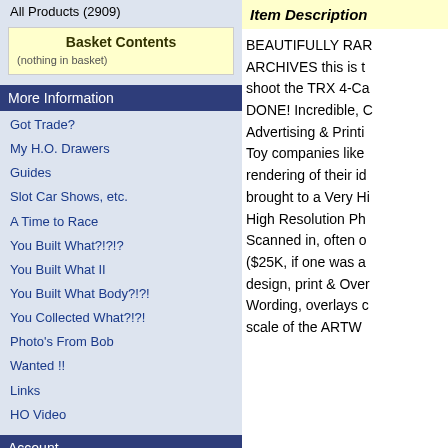All Products (2909)
Basket Contents
(nothing in basket)
More Information
Got Trade?
My H.O. Drawers
Guides
Slot Car Shows, etc.
A Time to Race
You Built What?!?!?
You Built What II
You Built What Body?!?!
You Collected What?!?!
Photo's From Bob
Wanted !!
Links
HO Video
Account
Login
Create New Account
Order History
Shipping/FAQ
Contact
Item Description
BEAUTIFULLY RAR ARCHIVES this is t shoot the TRX 4-Ca DONE! Incredible, C Advertising & Printi Toy companies like rendering of their id brought to a Very Hi High Resolution Ph Scanned in, often o ($25K, if one was a design, print & Over Wording, overlays c scale of the ARTW